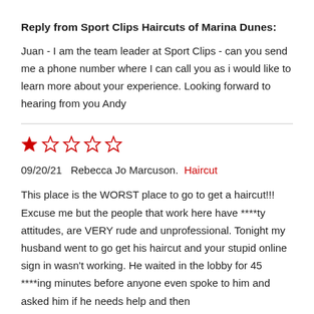Reply from Sport Clips Haircuts of Marina Dunes:
Juan - I am the team leader at Sport Clips - can you send me a phone number where I can call you as i would like to learn more about your experience. Looking forward to hearing from you Andy
★☆☆☆☆
09/20/21   Rebecca Jo Marcuson.   Haircut
This place is the WORST place to go to get a haircut!!! Excuse me but the people that work here have ****ty attitudes, are VERY rude and unprofessional. Tonight my husband went to go get his haircut and your stupid online sign in wasn't working. He waited in the lobby for 45 ****ing minutes before anyone even spoke to him and asked him if he needs help and then